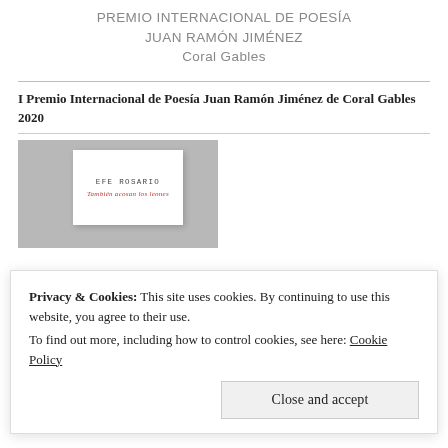PREMIO INTERNACIONAL DE POESÍA JUAN RAMÓN JIMÉNEZ
Coral Gables
I Premio Internacional de Poesía Juan Ramón Jiménez de Coral Gables 2020
[Figure (photo): Book cover image on grey background showing 'EFE ROSARIO' and italic red title text]
Privacy & Cookies: This site uses cookies. By continuing to use this website, you agree to their use.
To find out more, including how to control cookies, see here: Cookie Policy
Close and accept